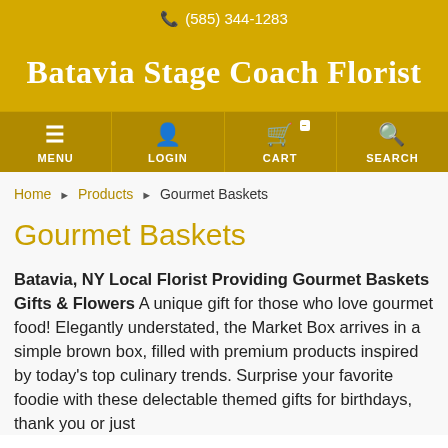(585) 344-1283
Batavia Stage Coach Florist
MENU LOGIN CART SEARCH
Home ▸ Products ▸ Gourmet Baskets
Gourmet Baskets
Batavia, NY Local Florist Providing Gourmet Baskets Gifts & Flowers A unique gift for those who love gourmet food! Elegantly understated, the Market Box arrives in a simple brown box, filled with premium products inspired by today's top culinary trends. Surprise your favorite foodie with these delectable themed gifts for birthdays, thank you or just